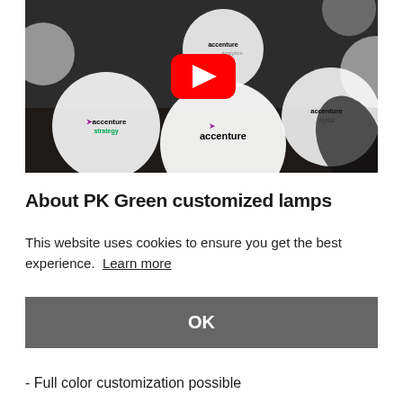[Figure (photo): A photo showing multiple illuminated spherical Accenture branded globes/balls on a dark surface. Various Accenture sub-brand logos visible (accenture strategy, accenture digital, accenture). A red YouTube play button overlay appears centered in the image, suggesting this is a video thumbnail.]
About PK Green customized lamps
This website uses cookies to ensure you get the best experience.  Learn more
OK
- Full color customization possible